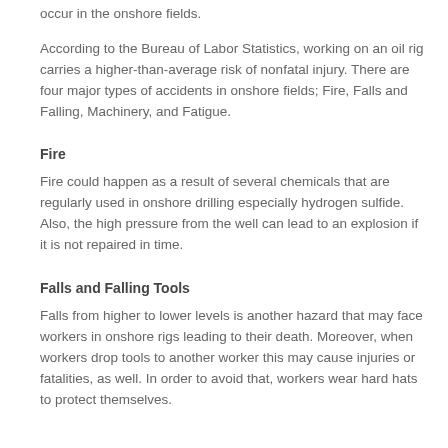circumstances such as sand storms or high temperatures. With that, it is crucial to define the most common dangers that may occur in the onshore fields.
According to the Bureau of Labor Statistics, working on an oil rig carries a higher-than-average risk of nonfatal injury. There are four major types of accidents in onshore fields; Fire, Falls and Falling, Machinery, and Fatigue.
Fire
Fire could happen as a result of several chemicals that are regularly used in onshore drilling especially hydrogen sulfide. Also, the high pressure from the well can lead to an explosion if it is not repaired in time.
Falls and Falling Tools
Falls from higher to lower levels is another hazard that may face workers in onshore rigs leading to their death. Moreover, when workers drop tools to another worker this may cause injuries or fatalities, as well. In order to avoid that, workers wear hard hats to protect themselves.